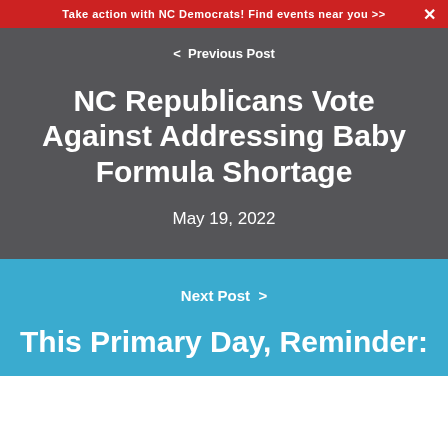Take action with NC Democrats! Find events near you >>
< Previous Post
NC Republicans Vote Against Addressing Baby Formula Shortage
May 19, 2022
Next Post >
This Primary Day, Reminder: